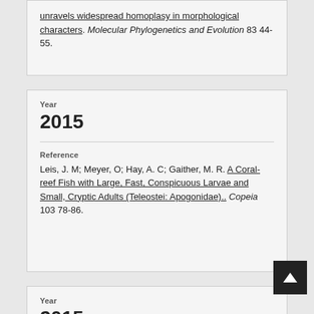unravels widespread homoplasy in morphological characters. Molecular Phylogenetics and Evolution 83 44-55.
Year
2015
Reference
Leis, J. M; Meyer, O; Hay, A. C; Gaither, M. R. A Coral-reef Fish with Large, Fast, Conspicuous Larvae and Small, Cryptic Adults (Teleostei: Apogonidae).. Copeia 103 78-86.
Year
2015
Reference
Eldridge, M. D. B; Herbert, C. A. Terrestrial mammal diversity, conservation and management in